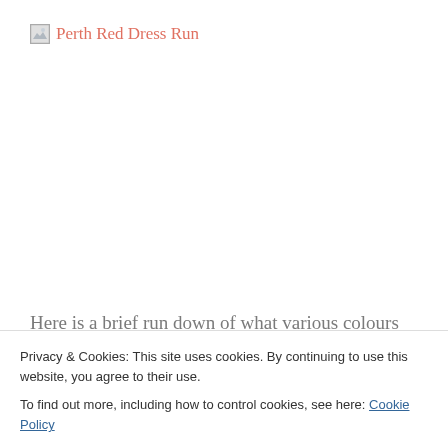Perth Red Dress Run
Here is a brief run down of what various colours mean
Privacy & Cookies: This site uses cookies. By continuing to use this website, you agree to their use.
To find out more, including how to control cookies, see here: Cookie Policy
Close and accept
positive attributes are security, reliability, elegance...